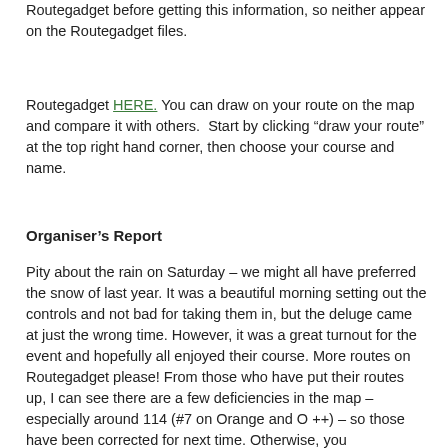Routegadget before getting this information, so neither appear on the Routegadget files.
Routegadget HERE. You can draw on your route on the map and compare it with others.  Start by clicking “draw your route” at the top right hand corner, then choose your course and name.
Organiser’s Report
Pity about the rain on Saturday – we might all have preferred the snow of last year. It was a beautiful morning setting out the controls and not bad for taking them in, but the deluge came at just the wrong time. However, it was a great turnout for the event and hopefully all enjoyed their course. More routes on Routegadget please! From those who have put their routes up, I can see there are a few deficiencies in the map – especially around 114 (#7 on Orange and O ++) – so those have been corrected for next time. Otherwise, you